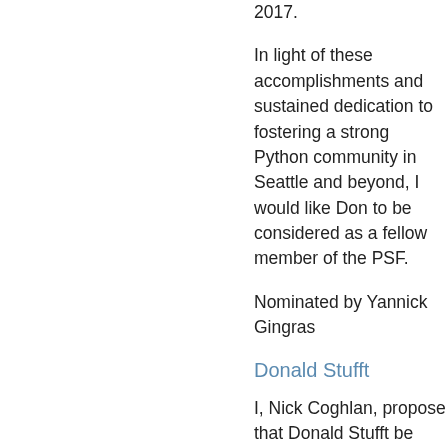2017.
In light of these accomplishments and sustained dedication to fostering a strong Python community in Seattle and beyond, I would like Don to be considered as a fellow member of the PSF.
Nominated by Yannick Gingras
Donald Stufft
I, Nick Coghlan, propose that Donald Stufft be recognized as a Fellow of the Python Software Foundation, due to his significant contributions to